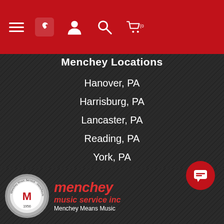Navigation bar with menu, phone, account, search, and cart (0) icons
Menchey Locations
Hanover, PA
Harrisburg, PA
Lancaster, PA
Reading, PA
York, PA
Gambrills, MD
Timonium, MD
Westminster, MD
Operations Center
[Figure (logo): Menchey Music Service Inc logo with circular badge and red italic text]
Menchey Means Music